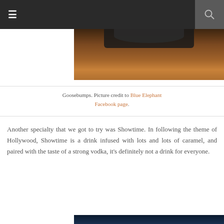Navigation bar with hamburger menu and search icon
[Figure (photo): Partial photo of a drink on a wooden table surface, cropped at top]
Goosebumps. Picture credit to Blue Elephant Facebook page.
Another specialty that we got to try was Showtime. In following the theme of Hollywood, Showtime is a drink infused with lots and lots of caramel, and paired with the taste of a strong vodka, it's definitely not a drink for everyone.
[Figure (photo): Bottom portion of another photo, partially visible at the very bottom of the page]